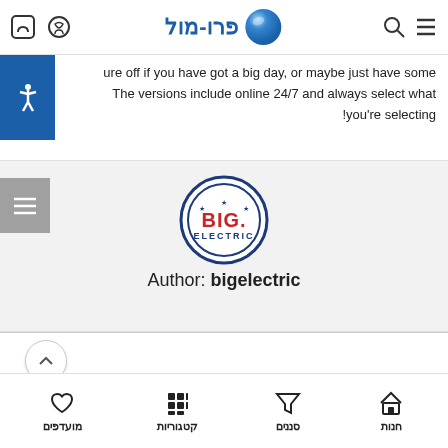פרו-מול [Pro-Mol logo with blue sphere]
ure off if you have got a big day, or maybe just have some The versions include online 24/7 and always select what !you're selecting
[Figure (logo): BIG ELECTRIC circular logo with blue ring, red BIG text and blue ELECTRIC text]
Author: bigelectric
מועדפים | קטגוריות | סננים | חנות